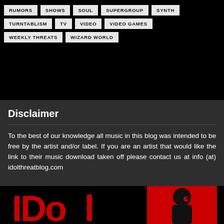RUMORS
SHOWS
SOUL
SUPERGROUP
SYNTH
TURNTABLISM
TV
VIDEO
VIDEO GAMES
WEEKLY THREATS
WIZARD WORLD
Disclaimer
To the best of our knowledge all music in this blog was intended to be free by the artist and/or label. If you are an artist that would like the link to their music download taken off please contact us at info (at) idolthreatblog.com
[Figure (logo): IDol Threat blog logo in red and black with stylized text and figure silhouette]